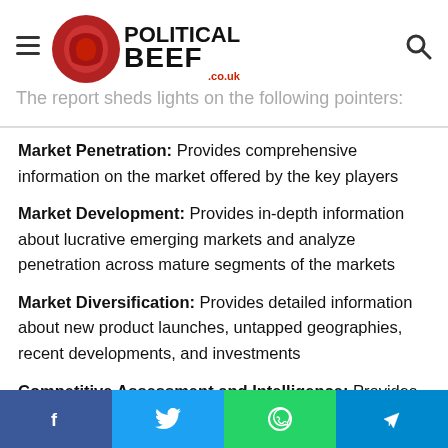Political Beef .co.uk — navigation header with hamburger menu and search icon
The report sheds lights on the following pointers:
Market Penetration: Provides comprehensive information on the market offered by the key players
Market Development: Provides in-depth information about lucrative emerging markets and analyze penetration across mature segments of the markets
Market Diversification: Provides detailed information about new product launches, untapped geographies, recent developments, and investments
Competitive Assessment and Intelligence: Provides an exhaustive assessment of market shares, strategies, products
Social share buttons: Facebook, Twitter, WhatsApp, Telegram